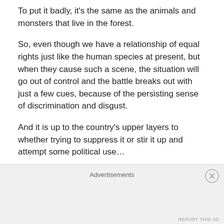To put it badly, it's the same as the animals and monsters that live in the forest.
So, even though we have a relationship of equal rights just like the human species at present, but when they cause such a scene, the situation will go out of control and the battle breaks out with just a few cues, because of the persisting sense of discrimination and disgust.
And it is up to the country's upper layers to whether trying to suppress it or stir it up and attempt some political use…
In the first place, if they don't understand the reason for the incident or how it started, they can't do anything about it.
Advertisements